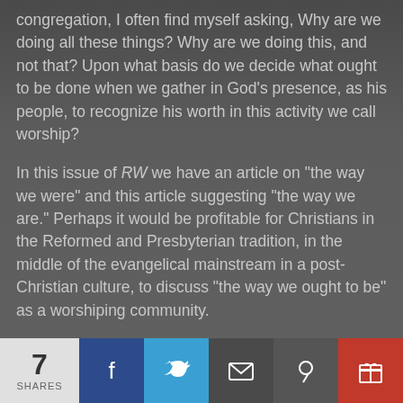congregation, I often find myself asking, Why are we doing all these things? Why are we doing this, and not that? Upon what basis do we decide what ought to be done when we gather in God's presence, as his people, to recognize his worth in this activity we call worship?
In this issue of RW we have an article on "the way we were" and this article suggesting "the way we are." Perhaps it would be profitable for Christians in the Reformed and Presbyterian tradition, in the middle of the evangelical mainstream in a post-Christian culture, to discuss "the way we ought to be" as a worshiping community.
Excerpt
The following churches sent in their ideas and reflections:
[Figure (infographic): Social share bar at bottom of page showing 7 SHARES count, and buttons for Facebook, Twitter, Email, Pinterest, and Gift/subscribe]